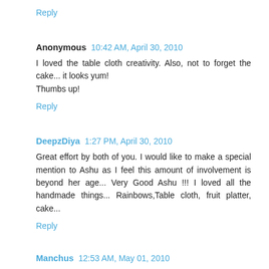Reply
Anonymous  10:42 AM, April 30, 2010
I loved the table cloth creativity. Also, not to forget the cake... it looks yum!
Thumbs up!
Reply
DeepzDiya  1:27 PM, April 30, 2010
Great effort by both of you. I would like to make a special mention to Ashu as I feel this amount of involvement is beyond her age... Very Good Ashu !!! I loved all the handmade things... Rainbows,Table cloth, fruit platter, cake...
Reply
Manchus  12:53 AM, May 01, 2010